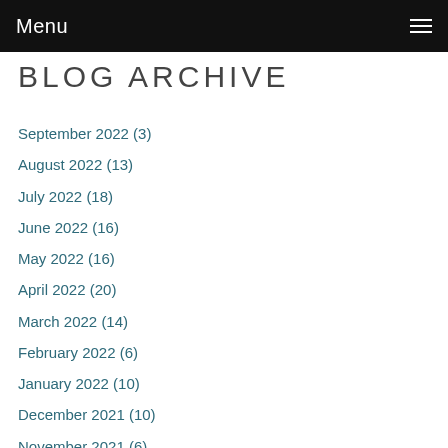Menu
BLOG ARCHIVE
September 2022 (3)
August 2022 (13)
July 2022 (18)
June 2022 (16)
May 2022 (16)
April 2022 (20)
March 2022 (14)
February 2022 (6)
January 2022 (10)
December 2021 (10)
November 2021 (6)
October 2021 (20)